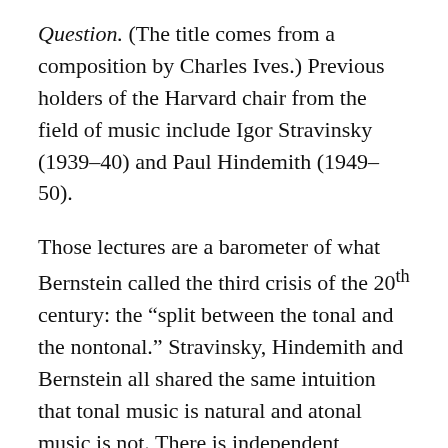Question. (The title comes from a composition by Charles Ives.) Previous holders of the Harvard chair from the field of music include Igor Stravinsky (1939–40) and Paul Hindemith (1949–50).
Those lectures are a barometer of what Bernstein called the third crisis of the 20th century: the "split between the tonal and the nontonal." Stravinsky, Hindemith and Bernstein all shared the same intuition that tonal music is natural and atonal music is not. There is independent evidence for this. As Isabelle Peretz (2001) observed, "Psychologists were the first to point out that tonal scale systems are almost universal in the music of the world's cultures."
On the other hand, there is no evidence that the selection of a tone row consisting of 12 randomly